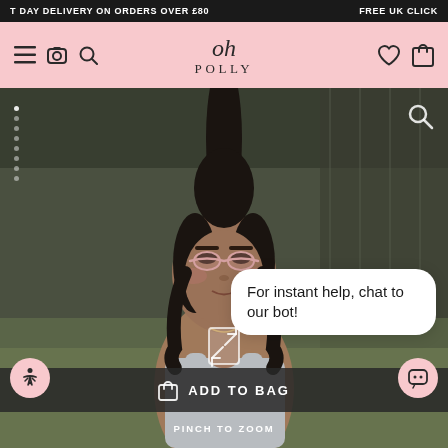T DAY DELIVERY ON ORDERS OVER £80   FREE UK CLICK
[Figure (logo): Oh Polly logo on pink navigation bar with hamburger menu, camera, search icons on left and heart, bag icons on right]
[Figure (photo): Fashion model with high ponytail wearing pink tinted sunglasses and grey sleeveless top, photographed against a dark outdoor background]
For instant help, chat to our bot!
ADD TO BAG
PINCH TO ZOOM